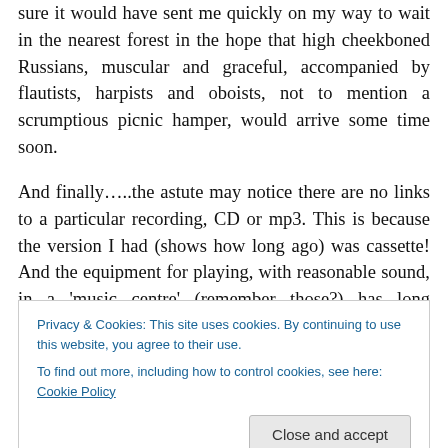sure it would have sent me quickly on my way to wait in the nearest forest in the hope that high cheekboned Russians, muscular and graceful, accompanied by flautists, harpists and oboists, not to mention a scrumptious picnic hamper, would arrive some time soon.
And finally…..the astute may notice there are no links to a particular recording, CD or mp3. This is because the version I had (shows how long ago) was cassette! And the equipment for playing, with reasonable sound, in a 'music centre' (remember those?) has long departed. Along with everything on cassette.
Privacy & Cookies: This site uses cookies. By continuing to use this website, you agree to their use.
To find out more, including how to control cookies, see here: Cookie Policy
my reader, Classical Novice, may be 'a novice' about